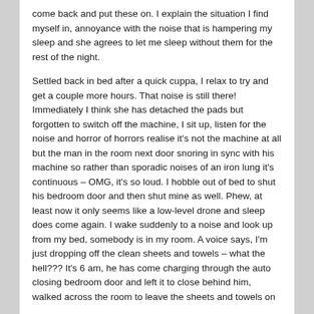come back and put these on.  I explain the situation I find myself in, annoyance with the noise that is hampering my sleep and she agrees to let me sleep without them for the rest of the night.
Settled back in bed after a quick cuppa, I relax to try and get a couple more hours.  That noise is still there!  Immediately I think she has detached the pads but forgotten to switch off the machine, I sit up, listen for the noise and horror of horrors realise it's not the machine at all but the man in the room next door snoring in sync with his machine so rather than sporadic noises of an iron lung it's continuous – OMG, it's so loud.  I hobble out of bed to shut his bedroom door and then shut mine as well.  Phew, at least now it only seems like a low-level drone and sleep does come again.  I wake suddenly to a noise and look up from my bed, somebody is in my room.  A voice says, I'm just dropping off the clean sheets and towels – what the hell???  It's 6 am, he has come charging through the auto closing bedroom door and left it to close behind him, walked across the room to leave the sheets and towels on